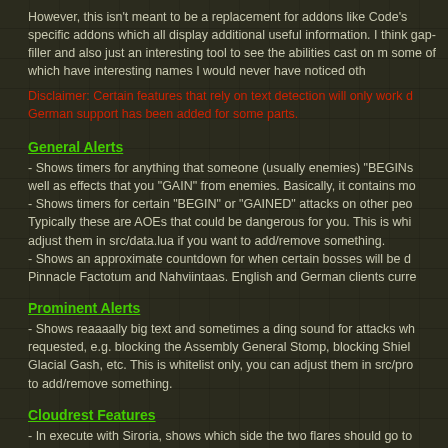However, this isn't meant to be a replacement for addons like Code's specific addons which all display additional useful information. I think gap-filler and also just an interesting tool to see the abilities cast on m some of which have interesting names I would never have noticed oth
Disclaimer: Certain features that rely on text detection will only work d German support has been added for some parts.
General Alerts
- Shows timers for anything that someone (usually enemies) "BEGINs well as effects that you "GAIN" from enemies. Basically, it contains mo - Shows timers for certain "BEGIN" or "GAINED" attacks on other peo Typically these are AOEs that could be dangerous for you. This is whi adjust them in src/data.lua if you want to add/remove something. - Shows an approximate countdown for when certain bosses will be d Pinnacle Factotum and Nahviintaas. English and German clients curre
Prominent Alerts
- Shows reaaaally big text and sometimes a ding sound for attacks wh requested, e.g. blocking the Assembly General Stomp, blocking Shiel Glacial Gash, etc. This is whitelist only, you can adjust them in src/pro to add/remove something.
Cloudrest Features
- In execute with Siroria, shows which side the two flares should go to sides designated by RaidNotifier. - Shows an indicator for Olorime's spears mechanic. Shows a colored spear, grayed out icon for synergized spear, and checkmark for orb du - Colorizes OdySupportIcons death icons purple if a corpse's shade is